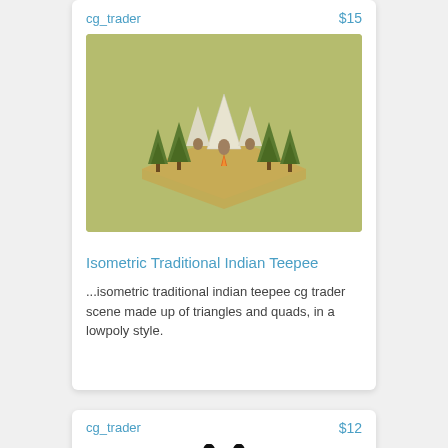cg_trader
$15
[Figure (illustration): Isometric 3D lowpoly scene of a traditional Indian teepee camp on a sandy platform, surrounded by green conifer trees, rendered on a light olive-green background.]
Isometric Traditional Indian Teepee
...isometric traditional indian teepee cg trader scene made up of triangles and quads, in a lowpoly style.
cg_trader
$12
[Figure (illustration): Partial view of a dark figure or character silhouette, appears to be legs/lower body of a walking figure in black on white background.]